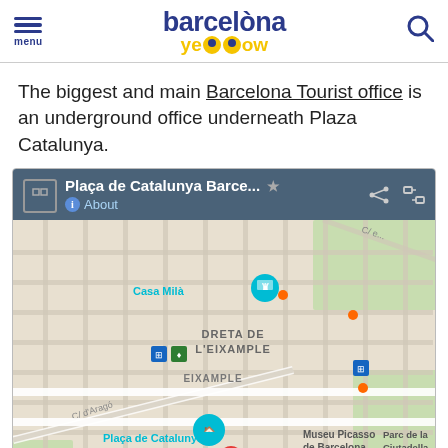barcelōna yellow — menu / search header
The biggest and main Barcelona Tourist office is an underground office underneath Plaza Catalunya.
[Figure (map): Google Maps screenshot showing Plaça de Catalunya Barcelona area with labels: Casa Milà, Dreta de L'Eixample, Eixample, Plaça de Catalunya, Museu Picasso de Barcelona, Parc de la Ciutadella, Museu d'Art Contemporani de. A 'MORE HOTELS' black marker is visible near Plaça de Catalunya.]